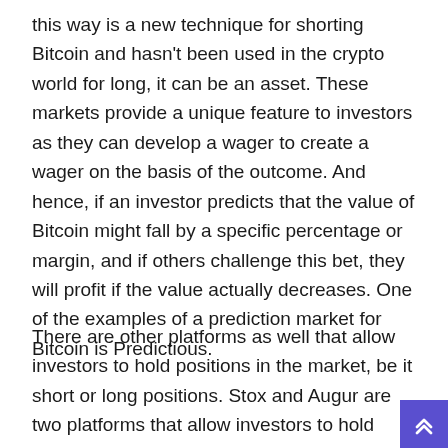this way is a new technique for shorting Bitcoin and hasn't been used in the crypto world for long, it can be an asset. These markets provide a unique feature to investors as they can develop a wager to create a wager on the basis of the outcome. And hence, if an investor predicts that the value of Bitcoin might fall by a specific percentage or margin, and if others challenge this bet, they will profit if the value actually decreases. One of the examples of a prediction market for Bitcoin is Predictious.
There are other platforms as well that allow investors to hold positions in the market, be it short or long positions. Stox and Augur are two platforms that allow investors to hold positions exclusively in the ETH market. To short positions in the Bitcoin market or in any other market, the investor needs to have a lot of heart, as they are generally going against the market trends. Having said